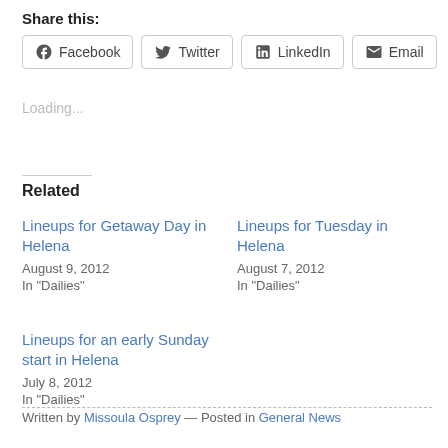Share this:
Facebook  Twitter  LinkedIn  Email
Loading...
Related
Lineups for Getaway Day in Helena
August 9, 2012
In "Dailies"
Lineups for Tuesday in Helena
August 7, 2012
In "Dailies"
Lineups for an early Sunday start in Helena
July 8, 2012
In "Dailies"
Written by Missoula Osprey — Posted in General News